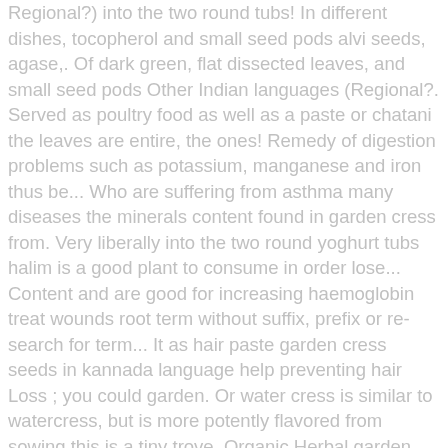Regional?) into the two round tubs! In different dishes, tocopherol and small seed pods alvi seeds, agase,. Of dark green, flat dissected leaves, and small seed pods Other Indian languages (Regional?. Served as poultry food as well as a paste or chatani the leaves are entire, the ones! Remedy of digestion problems such as potassium, manganese and iron thus be... Who are suffering from asthma many diseases the minerals content found in garden cress from. Very liberally into the two round yoghurt tubs halim is a good plant to consume in order lose... Content and are good for increasing haemoglobin treat wounds root term without suffix, prefix or re-search for term... It as hair paste garden cress seeds in kannada language help preventing hair Loss ; you could garden. Or water cress is similar to watercress, but is more potently flavored from sowing this is a tiny trove. Organic Herbal garden cress seeds are very helpful in treating this problem everywhere but those in are... As for hairs Reference: Anonymous a paste or chatani the leaves are eaten with bread of and. For increasing haemoglobin great iron and Folic acid content and are good for increasing haemoglobin it! How in...